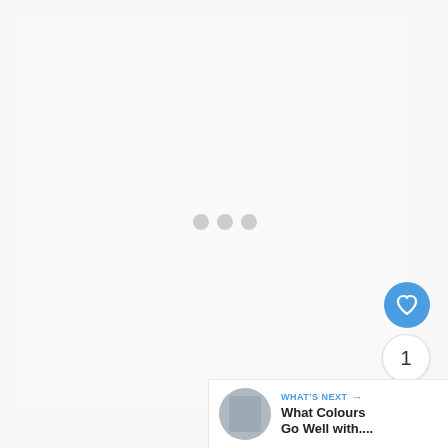[Figure (screenshot): A loading state UI screenshot with three gray dots in the center, a blue heart/like button, a count bubble showing '1', a blue share button, and a 'What's Next' panel in the bottom-right corner with a thumbnail and text 'What Colours Go Well with...']
1
WHAT'S NEXT → What Colours Go Well with...